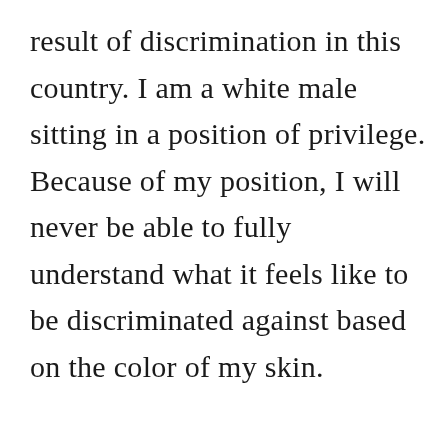result of discrimination in this country. I am a white male sitting in a position of privilege. Because of my position, I will never be able to fully understand what it feels like to be discriminated against based on the color of my skin.